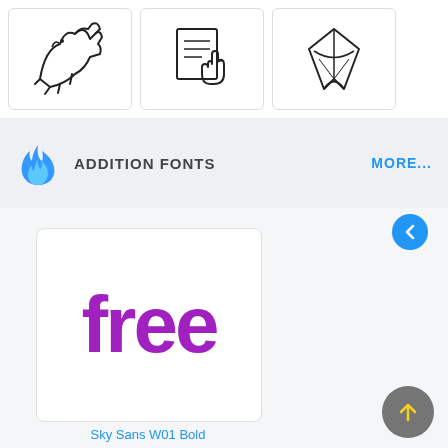[Figure (illustration): Three icon cards showing sketched illustrations: a running animal/creature, a hand clicking a form/document, and a pen/calligraphy tool]
ADDITION FONTS    MORE...
[Figure (illustration): Font preview card showing the word 'free' in large bold purple text (Sky Sans W01 Bold font), with a circular back arrow button and a circular up arrow button]
Sky Sans W01 Bold